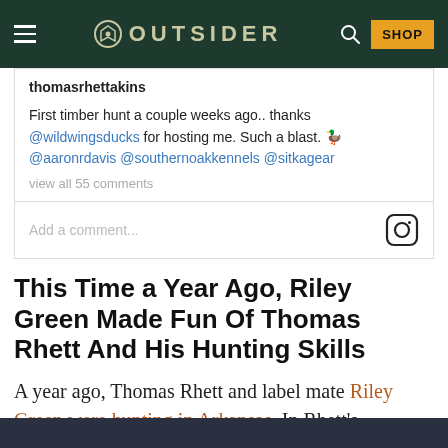OUTSIDER
thomasrhettakins
First timber hunt a couple weeks ago.. thanks @wildwingsducks for hosting me. Such a blast. 🦆 @aaronrdavis @southernoakkennels @sitkagear
view all 55 comments
Add a comment...
This Time a Year Ago, Riley Green Made Fun Of Thomas Rhett And His Hunting Skills
A year ago, Thomas Rhett and label mate Riley Green were hunting in Arkansas. In Rhett's